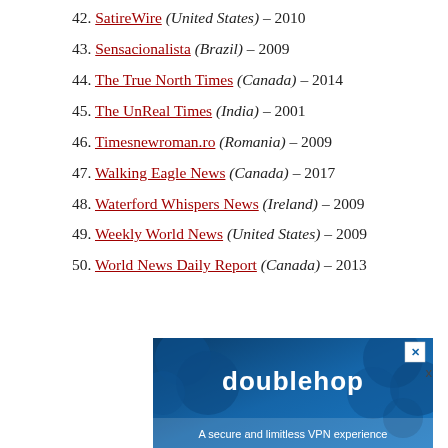42. SatireWire (United States) – 2010
43. Sensacionalista (Brazil) – 2009
44. The True North Times (Canada) – 2014
45. The UnReal Times (India) – 2001
46. Timesnewroman.ro (Romania) – 2009
47. Walking Eagle News (Canada) – 2017
48. Waterford Whispers News (Ireland) – 2009
49. Weekly World News (United States) – 2009
50. World News Daily Report (Canada) – 2013
[Figure (other): Advertisement banner for 'doublehop' VPN service. Blue background with circular design elements, white bold text 'doublehop' and tagline 'A secure and limitless VPN experience'. Has a close button (X) in top right corner.]